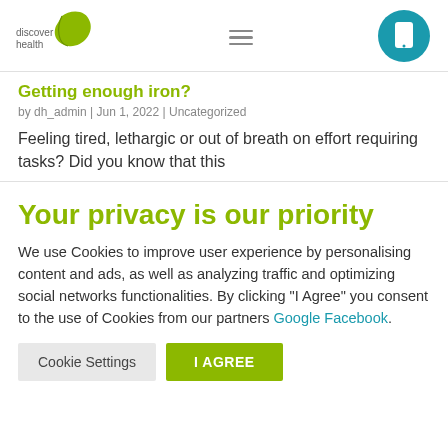[Figure (logo): Discover Health logo with green leaf icon and text 'discover health']
Getting enough iron?
by dh_admin | Jun 1, 2022 | Uncategorized
Feeling tired, lethargic or out of breath on effort requiring tasks? Did you know that this
Your privacy is our priority
We use Cookies to improve user experience by personalising content and ads, as well as analyzing traffic and optimizing social networks functionalities. By clicking "I Agree" you consent to the use of Cookies from our partners Google Facebook.